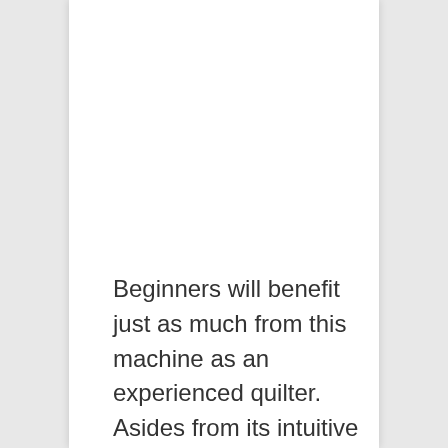Beginners will benefit just as much from this machine as an experienced quilter. Asides from its intuitive and straightforward design, its clearly labeled knobs and buttons go a long way in